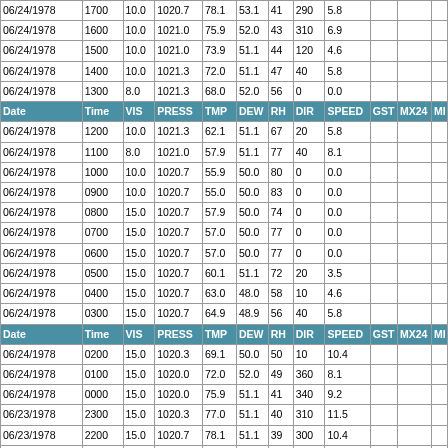| Date | Time | VIS | PRESS | TMP | DEW | RH | DIR | SPEED | GST | MX24 | MI |
| --- | --- | --- | --- | --- | --- | --- | --- | --- | --- | --- | --- |
| 06/24/1978 | 1700 | 10.0 | 1020.7 | 78.1 | 53.1 | 41 | 290 | 5.8 |  |  |  |
| 06/24/1978 | 1600 | 10.0 | 1021.0 | 75.9 | 52.0 | 43 | 310 | 6.9 |  |  |  |
| 06/24/1978 | 1500 | 10.0 | 1021.0 | 73.9 | 51.1 | 44 | 120 | 4.6 |  |  |  |
| 06/24/1978 | 1400 | 10.0 | 1021.3 | 72.0 | 51.1 | 47 | 40 | 5.8 |  |  |  |
| 06/24/1978 | 1300 | 8.0 | 1021.3 | 68.0 | 52.0 | 56 | 0 | 0.0 |  |  |  |
| HEADER |  |  |  |  |  |  |  |  |  |  |  |
| 06/24/1978 | 1200 | 10.0 | 1021.3 | 62.1 | 51.1 | 67 | 20 | 5.8 |  |  |  |
| 06/24/1978 | 1100 | 8.0 | 1021.0 | 57.9 | 51.1 | 77 | 40 | 8.1 |  |  |  |
| 06/24/1978 | 1000 | 10.0 | 1020.7 | 55.9 | 50.0 | 80 | 0 | 0.0 |  |  |  |
| 06/24/1978 | 0900 | 10.0 | 1020.7 | 55.0 | 50.0 | 83 | 0 | 0.0 |  |  |  |
| 06/24/1978 | 0800 | 15.0 | 1020.7 | 57.9 | 50.0 | 74 | 0 | 0.0 |  |  |  |
| 06/24/1978 | 0700 | 15.0 | 1020.7 | 57.0 | 50.0 | 77 | 0 | 0.0 |  |  |  |
| 06/24/1978 | 0600 | 15.0 | 1020.7 | 57.0 | 50.0 | 77 | 0 | 0.0 |  |  |  |
| 06/24/1978 | 0500 | 15.0 | 1020.7 | 60.1 | 51.1 | 72 | 20 | 3.5 |  |  |  |
| 06/24/1978 | 0400 | 15.0 | 1020.7 | 63.0 | 48.0 | 58 | 10 | 4.6 |  |  |  |
| 06/24/1978 | 0300 | 15.0 | 1020.7 | 64.9 | 48.9 | 56 | 40 | 5.8 |  |  |  |
| HEADER |  |  |  |  |  |  |  |  |  |  |  |
| 06/24/1978 | 0200 | 15.0 | 1020.3 | 69.1 | 50.0 | 50 | 10 | 10.4 |  |  |  |
| 06/24/1978 | 0100 | 15.0 | 1020.0 | 72.0 | 52.0 | 49 | 360 | 8.1 |  |  |  |
| 06/24/1978 | 0000 | 15.0 | 1020.0 | 75.9 | 51.1 | 41 | 340 | 9.2 |  |  |  |
| 06/23/1978 | 2300 | 15.0 | 1020.3 | 77.0 | 51.1 | 40 | 310 | 11.5 |  |  |  |
| 06/23/1978 | 2200 | 15.0 | 1020.7 | 78.1 | 51.1 | 39 | 300 | 10.4 |  |  |  |
| 06/23/1978 | 2100 | 10.0 | 1020.7 | 79.0 | 52.0 | 39 | 340 | 9.2 |  |  |  |